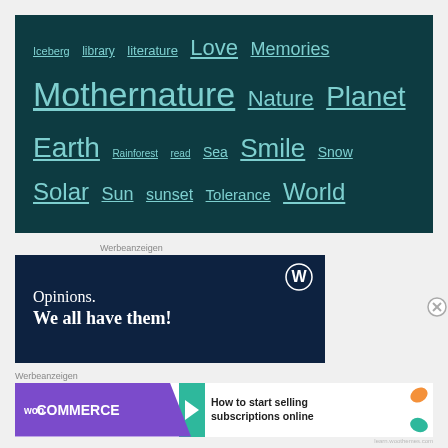Iceberg library literature Love Memories Mothernature Nature Planet Earth Rainforest read Sea Smile Snow Solar Sun sunset Tolerance World
Werbeanzeigen
[Figure (screenshot): WordPress advertisement with dark navy background, WordPress logo (W in circle), text 'Opinions. We all have them!']
Werbeanzeigen
[Figure (screenshot): WooCommerce advertisement: purple banner with WooCommerce logo, teal arrow, text 'How to start selling subscriptions online' with decorative leaf shapes]